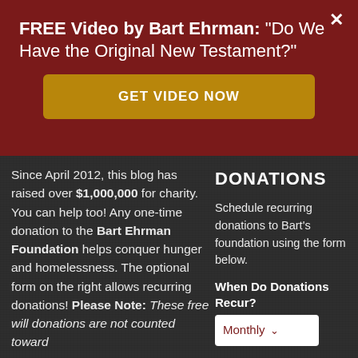FREE Video by Bart Ehrman: "Do We Have the Original New Testament?"
GET VIDEO NOW
DONATIONS
Since April 2012, this blog has raised over $1,000,000 for charity. You can help too! Any one-time donation to the Bart Ehrman Foundation helps conquer hunger and homelessness. The optional form on the right allows recurring donations! Please Note: These free will donations are not counted toward
Schedule recurring donations to Bart's foundation using the form below.
When Do Donations Recur?
Monthly
How Many Times to Recur?
Never End
Enter Donation Amount